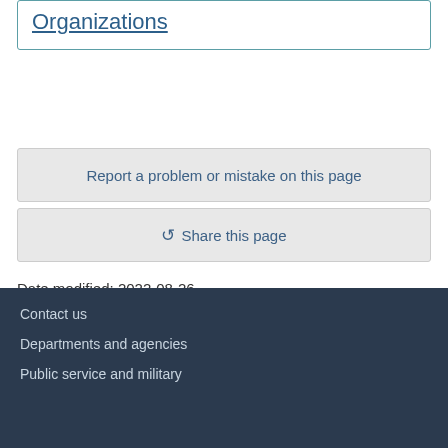Organizations
Report a problem or mistake on this page
Share this page
Date modified: 2022-08-26
Contact us
Departments and agencies
Public service and military